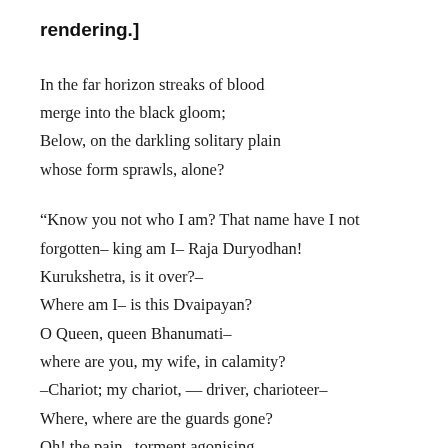rendering.]
In the far horizon streaks of blood
merge into the black gloom;
Below, on the darkling solitary plain
whose form sprawls, alone?
“Know you not who I am? That name have I not forgotten– king am I– Raja Duryodhan!
Kurukshetra, is it over?–
Where am I– is this Dvaipayan?
O Queen, queen Bhanumati–
where are you, my wife, in calamity?
–Chariot; my chariot, — driver, charioteer–
Where, where are the guards gone?
Oh! the pain– torment agonising–